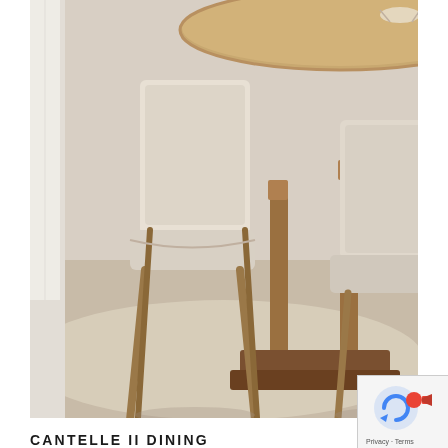[Figure (photo): Photo of dining chairs with upholstered beige/linen seats and curved wooden legs, positioned around a large round wooden pedestal dining table. The scene shows a dining room with a neutral-toned rug.]
CANTELLE II DINING CHAIR
€495.00
[Figure (photo): Photo of a round white/grey pedestal dining table with a light wood top, viewed from slightly above, showing the circular top and ornate column base.]